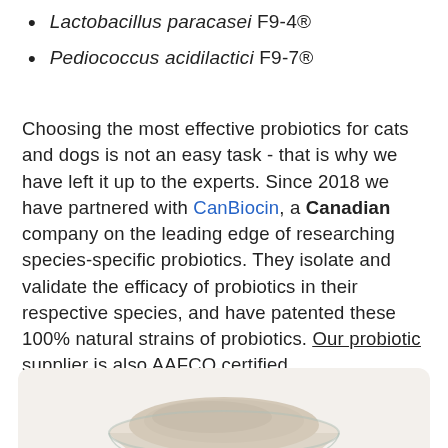Lactobacillus paracasei F9-4®
Pediococcus acidilactici F9-7®
Choosing the most effective probiotics for cats and dogs is not an easy task - that is why we have left it up to the experts. Since 2018 we have partnered with CanBiocin, a Canadian company on the leading edge of researching species-specific probiotics. They isolate and validate the efficacy of probiotics in their respective species, and have patented these 100% natural strains of probiotics. Our probiotic supplier is also AAFCO certified.
[Figure (photo): A glass bowl containing a light beige powdery substance, viewed from above on a white/cream background.]